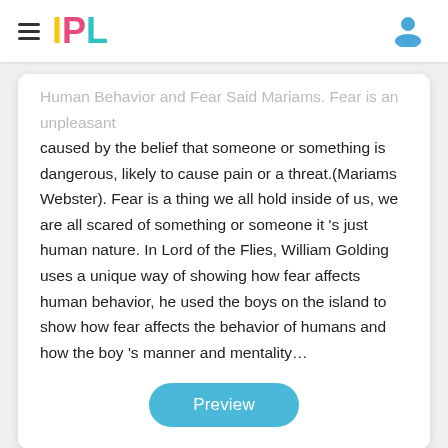IPL
Human Behavior and Fear Said Mariams. Fear is an unpleasant caused by the belief that someone or something is dangerous, likely to cause pain or a threat.(Mariams Webster). Fear is a thing we all hold inside of us, we are all scared of something or someone it 's just human nature. In Lord of the Flies, William Golding uses a unique way of showing how fear affects human behavior, he used the boys on the island to show how fear affects the behavior of humans and how the boy 's manner and mentality…
Preview